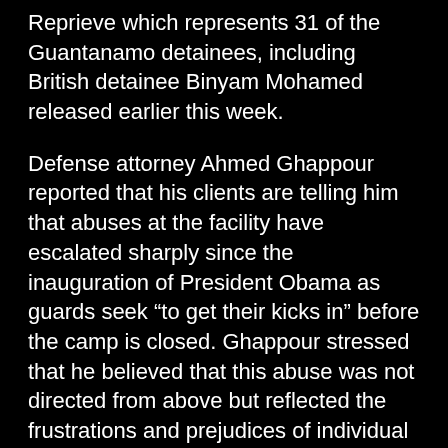Reprieve which represents 31 of the Guantanamo detainees, including British detainee Binyam Mohamed released earlier this week.
Defense attorney Ahmed Ghappour reported that his clients are telling him that abuses at the facility have escalated sharply since the inauguration of President Obama as guards seek "to get their kicks in" before the camp is closed. Ghappour stressed that he believed that this abuse was not directed from above but reflected the frustrations and prejudices of individual guards, some of whom had served in Iraq and were scarred by their experience. In one of the six main camps at Guantanamo all of the detainees Ghappour knew of were on hunger strike and subject of forced feeding.
The Pentagon review of the Guantanamo facility led by